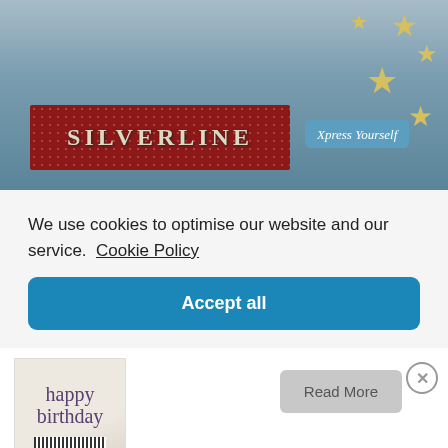[Figure (photo): Product display image showing Silverline greeting cards packaging with red dotted banner and Xpress Yourself badge, stars in background]
We use cookies to optimise our website and our service.  Cookie Policy
Accept all
[Figure (photo): Thumbnail image of Happy Birthday greeting card with cursive text and barcode]
Read More
Pack Of 12 Happy Birthday Greeting Cards 9036F
£1.99  Excluding Vat